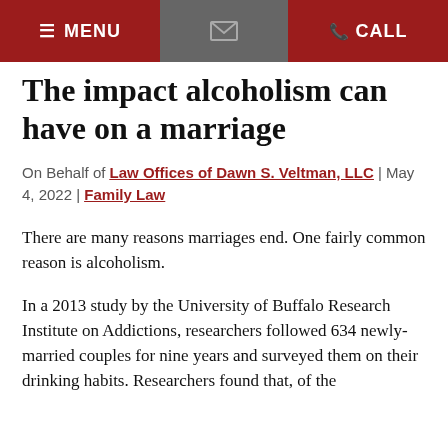MENU | [email icon] | CALL
The impact alcoholism can have on a marriage
On Behalf of Law Offices of Dawn S. Veltman, LLC | May 4, 2022 | Family Law
There are many reasons marriages end. One fairly common reason is alcoholism.
In a 2013 study by the University of Buffalo Research Institute on Addictions, researchers followed 634 newly-married couples for nine years and surveyed them on their drinking habits. Researchers found that, of the